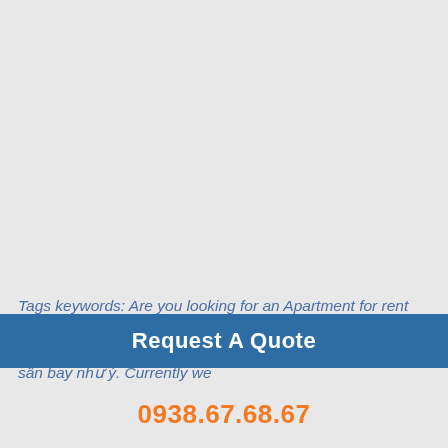Tags keywords: Are you looking for an Apartment for rent near Tan Son Nhat airport? Hãy liên hệ với chúng tôi để có thể thuê căn hộ gần sân bay, hoặc thuê căn hộ dịch vụ gần sân bay như ý. Currently we
Request A Quote
0938.67.68.67